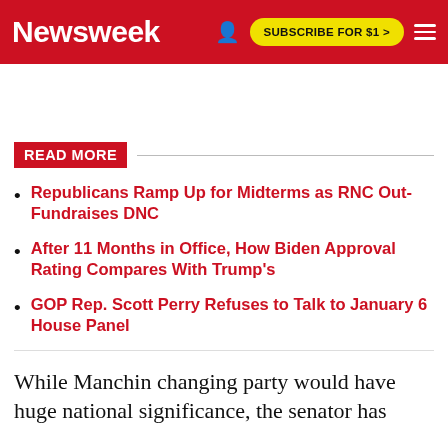Newsweek | SUBSCRIBE FOR $1 >
READ MORE
Republicans Ramp Up for Midterms as RNC Out-Fundraises DNC
After 11 Months in Office, How Biden Approval Rating Compares With Trump's
GOP Rep. Scott Perry Refuses to Talk to January 6 House Panel
While Manchin changing party would have huge national significance, the senator has